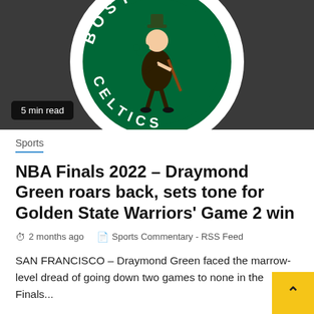[Figure (photo): Boston Celtics logo on dark gray background]
5 min read
Sports
NBA Finals 2022 – Draymond Green roars back, sets tone for Golden State Warriors' Game 2 win
2 months ago   Sports Commentary - RSS Feed
SAN FRANCISCO – Draymond Green faced the marrow-level dread of going down two games to none in the Finals...